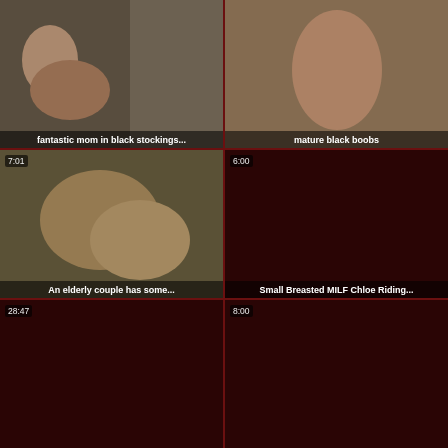[Figure (photo): Video thumbnail: fantastic mom in black stockings...]
[Figure (photo): Video thumbnail: mature black boobs]
[Figure (photo): Video thumbnail 7:01: An elderly couple has some...]
[Figure (photo): Video thumbnail 6:00: Small Breasted MILF Chloe Riding...]
[Figure (photo): Video thumbnail 28:47: dark/unavailable]
[Figure (photo): Video thumbnail 8:00: dark/unavailable]